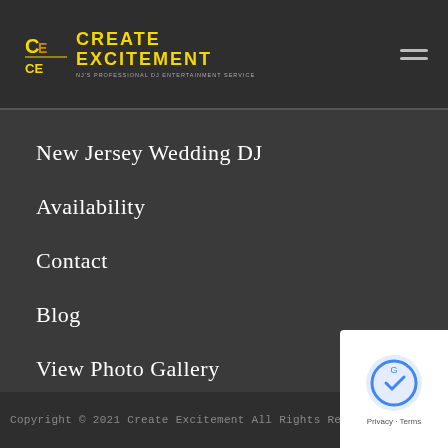[Figure (logo): Create Excitement logo with CE icon in gold/yellow and tagline NJ's Professional DJ Entertainment Service]
New Jersey Wedding DJ
Availability
Contact
Blog
View Photo Gallery
Privacy Policy
Copyright © 2021 Create Excitement All Rights Reserved
[Figure (other): Google reviews badge with reCAPTCHA icon and Privacy/Terms links]